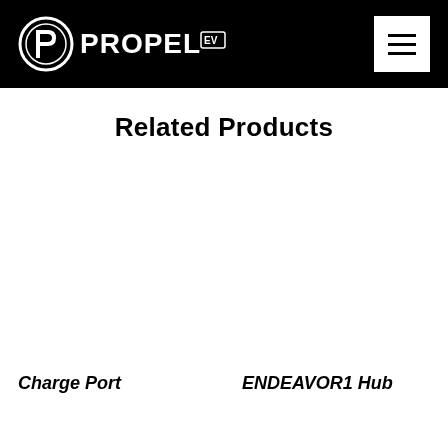PROPEL EV
Related Products
Charge Port
ENDEAVOR1 Hub